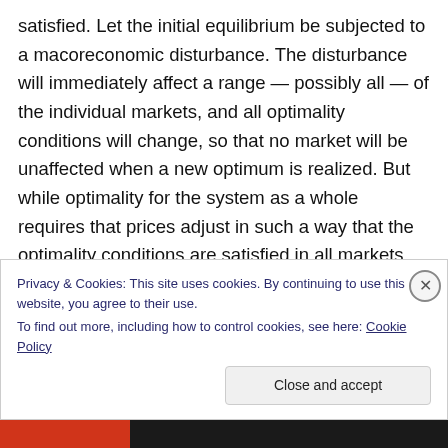satisfied. Let the initial equilibrium be subjected to a macoreconomic disturbance. The disturbance will immediately affect a range — possibly all — of the individual markets, and all optimality conditions will change, so that no market will be unaffected when a new optimum is realized. But while optimality for the system as a whole requires that prices adjust in such a way that the optimality conditions are satisfied in all markets simultaneously, each price adjustment that actually occurs is a response to the conditions in a single market – the relationship between amounts demanded and supplied at
Privacy & Cookies: This site uses cookies. By continuing to use this website, you agree to their use.
To find out more, including how to control cookies, see here: Cookie Policy